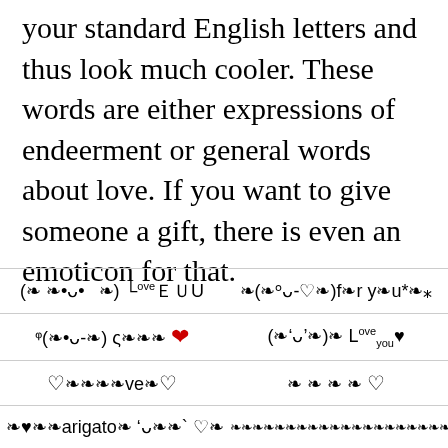your standard English letters and thus look much cooler. These words are either expressions of endeerment or general words about love. If you want to give someone a gift, there is even an emoticon for that.
| (❧ ❧•ᴗ•‥ ❧) ∟oveＵ | ❧(❧ᵒᴗ-♡❧)f❧r y❧u*❧* |
| ᵠ(❧•᪵ᴗ-❧) ς❧❧❧ ❤ | (❧'ᴗ'❧)❧ Love you♥ |
| ♡❧❧❧❧ve❧♡ | ❧ ❧ ❧ ❧ ♡ |
| ❧♥❧❧arigatо❧ 'ᴗ❧❧` ♡❧ | ❧❧❧❧❧❧❧❧❧❧❧❧❧❧❧❧❧❧❧❧❧❧❧❧ |